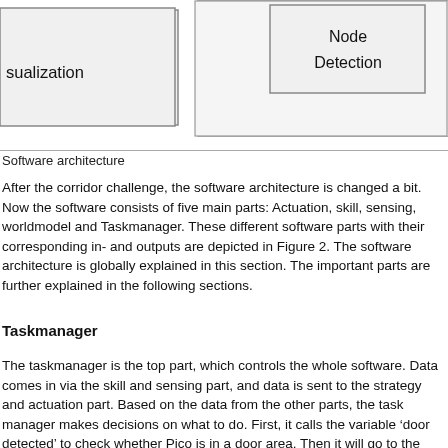[Figure (schematic): Partial software architecture diagram showing two boxes: one partially visible on the left labeled 'sualization' (visualization cut off) and one on the right labeled 'Node Detection'.]
Software architecture
After the corridor challenge, the software architecture is changed a bit. Now the software consists of five main parts: Actuation, skill, sensing, worldmodel and Taskmanager. These different software parts with their corresponding in- and outputs are depicted in Figure 2. The software architecture is globally explained in this section. The important parts are further explained in the following sections.
Taskmanager
The taskmanager is the top part, which controls the whole software. Data comes in via the skill and sensing part, and data is sent to the strategy and actuation part. Based on the data from the other parts, the task manager makes decisions on what to do. First, it calls the variable ‘door detected’ to check whether Pico is in a door area. Then it will go to the initial state ‘start’ in which the startup procedure is implemented. It checks if there is a wall on the right side of Pico, and Pico will be aligned to this wall. When Pico is aligned to this wall, it will go to the following state ‘straight_pref’. In this state, Pico drives